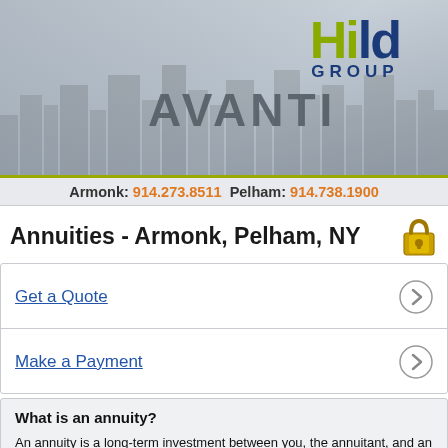[Figure (logo): Avanti and Hilo Group banner with city skyline background. Avanti text on left, Hilo Group logo (green H, blue ILD, blue GROUP text) on right.]
Armonk: 914.273.8511  Pelham: 914.738.1900
Annuities - Armonk, Pelham, NY
Get a Quote
Make a Payment
What is an annuity?
An annuity is a long-term investment between you, the annuitant, and an insurance company, the annuity issuer. Under this contract, you pay after-tax funds to the annuity issuer, who then invests your principal to meet your financial objectives and pays you or your beneficiary back with earnings (subject to the claims-paying ability of the issuer).
If you have a fixed annuity, your interest rate is guaranteed. With a variable annuity, your earnings are linked with the fluctuating performance of your investments and may be worth more or less than